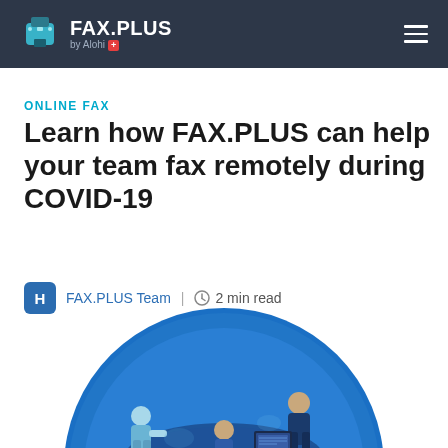FAX.PLUS by Alohi
ONLINE FAX
Learn how FAX.PLUS can help your team fax remotely during COVID-19
FAX.PLUS Team | 2 min read
[Figure (illustration): Illustration of a team collaborating remotely around a table with laptop, within a blue circle background]